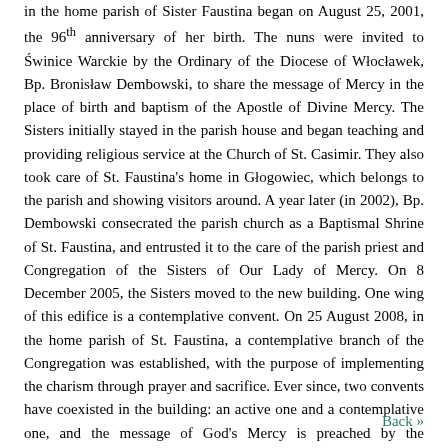in the home parish of Sister Faustina began on August 25, 2001, the 96th anniversary of her birth. The nuns were invited to Świnice Warckie by the Ordinary of the Diocese of Włocławek, Bp. Bronisław Dembowski, to share the message of Mercy in the place of birth and baptism of the Apostle of Divine Mercy. The Sisters initially stayed in the parish house and began teaching and providing religious service at the Church of St. Casimir. They also took care of St. Faustina's home in Głogowiec, which belongs to the parish and showing visitors around. A year later (in 2002), Bp. Dembowski consecrated the parish church as a Baptismal Shrine of St. Faustina, and entrusted it to the care of the parish priest and Congregation of the Sisters of Our Lady of Mercy. On 8 December 2005, the Sisters moved to the new building. One wing of this edifice is a contemplative convent. On 25 August 2008, in the home parish of St. Faustina, a contemplative branch of the Congregation was established, with the purpose of implementing the charism through prayer and sacrifice. Ever since, two convents have coexisted in the building: an active one and a contemplative one, and the message of God's Mercy is preached by the testimony of the Sisters' lives, their apostolic work, prayer and sacrifice.
Back »